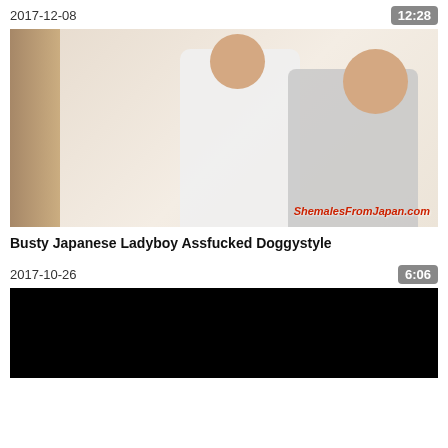2017-12-08
12:28
[Figure (photo): Two people in an indoor room scene with curtains and a light-colored wall. Watermark text 'ShemalesFromJapan.com' in red at bottom right.]
Busty Japanese Ladyboy Assfucked Doggystyle
2017-10-26
6:06
[Figure (photo): Dark/black thumbnail image, content not visible.]